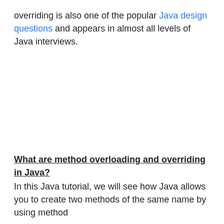overriding is also one of the popular Java design questions and appears in almost all levels of Java interviews.
What are method overloading and overriding in Java?
In this Java tutorial, we will see how Java allows you to create two methods of the same name by using method